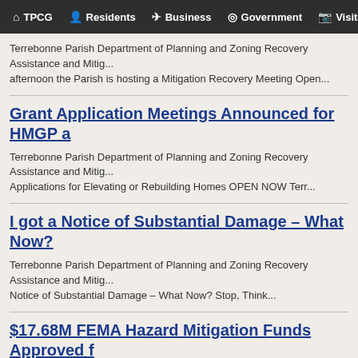TPCG | Residents | Business | Government | Visitors
Terrebonne Parish Department of Planning and Zoning Recovery Assistance and Mitig... afternoon the Parish is hosting a Mitigation Recovery Meeting Open...
Grant Application Meetings Announced for HMGP a
Terrebonne Parish Department of Planning and Zoning Recovery Assistance and Mitig... Applications for Elevating or Rebuilding Homes OPEN NOW Terr...
I got a Notice of Substantial Damage  – What Now?
Terrebonne Parish Department of Planning and Zoning Recovery Assistance and Mitig... Notice of Substantial Damage  – What Now? Stop, Think...
$17.68M FEMA Hazard Mitigation Funds Approved f... Match as low as 10%
Terrebonne Parish Department of Planning and Zoning Recovery Assistance and Mitig... Edwards Announces $17.68M FEMA Hazard Mitigation Funds Approved fo...
Deadline for Claims - Not Depreciation says Commi